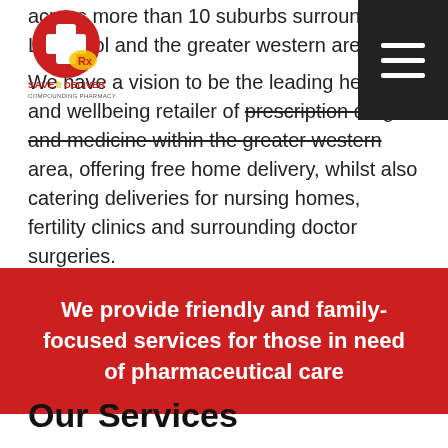Save and Deliver Compounding Pharmacy logo and navigation
across more than 10 suburbs surrounding Liverpool and the greater western area.
We have a vision to be the leading health and wellbeing retailer of prescription drugs and medicine within the greater western area, offering free home delivery, whilst also catering deliveries for nursing homes, fertility clinics and surrounding doctor surgeries.
We provide friendly and family-focused services for those in need of pharmaceutical care
Our Services